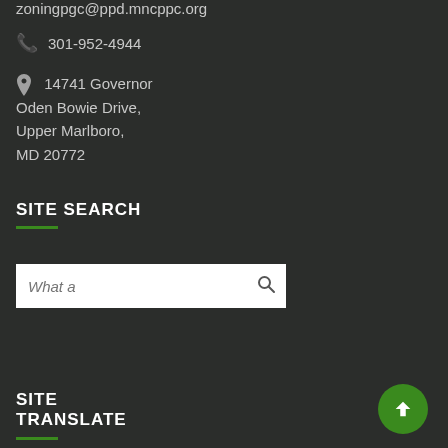zoningpgc@ppd.mncppc.org
301-952-4944
14741 Governor Oden Bowie Drive, Upper Marlboro, MD 20772
SITE SEARCH
What a
SITE TRANSLATE